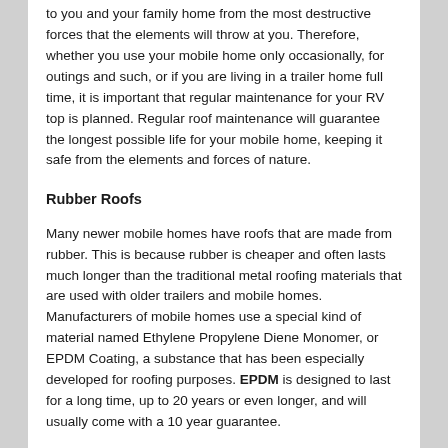to you and your family home from the most destructive forces that the elements will throw at you. Therefore, whether you use your mobile home only occasionally, for outings and such, or if you are living in a trailer home full time, it is important that regular maintenance for your RV top is planned. Regular roof maintenance will guarantee the longest possible life for your mobile home, keeping it safe from the elements and forces of nature.
Rubber Roofs
Many newer mobile homes have roofs that are made from rubber. This is because rubber is cheaper and often lasts much longer than the traditional metal roofing materials that are used with older trailers and mobile homes. Manufacturers of mobile homes use a special kind of material named Ethylene Propylene Diene Monomer, or EPDM Coating, a substance that has been especially developed for roofing purposes. EPDM is designed to last for a long time, up to 20 years or even longer, and will usually come with a 10 year guarantee.